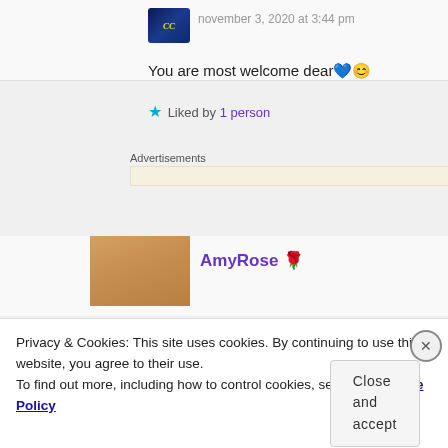november 3, 2020 at 3:44 pm
You are most welcome dear 💙😊
⭐ Liked by 1 person
Advertisements
AmyRose 🌹
Privacy & Cookies: This site uses cookies. By continuing to use this website, you agree to their use.
To find out more, including how to control cookies, see here: Cookie Policy
Close and accept